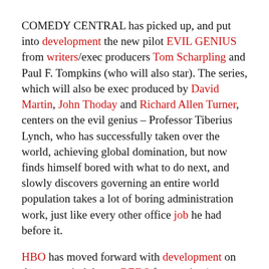COMEDY CENTRAL has picked up, and put into development the new pilot EVIL GENIUS from writers/exec producers Tom Scharpling and Paul F. Tompkins (who will also star). The series, which will also be exec produced by David Martin, John Thoday and Richard Allen Turner, centers on the evil genius – Professor Tiberius Lynch, who has successfully taken over the world, achieving global domination, but now finds himself bored with what to do next, and slowly discovers governing an entire world population takes a lot of boring administration work, just like every other office job he had before it.
HBO has moved forward with development on the spy period drama REDS from writer/exec producer Martyn